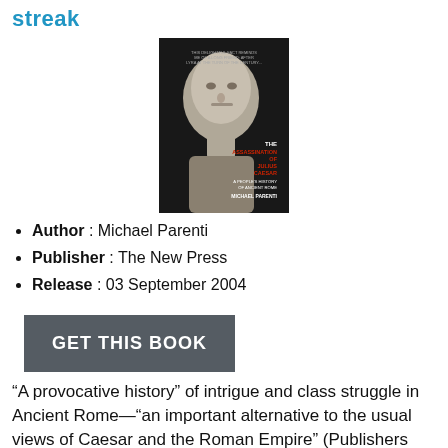streak
[Figure (photo): Book cover of 'The Assassination of Julius Caesar: A People's History of Ancient Rome' by Michael Parenti. Dark cover with a Roman marble bust in black and white, with red and white text.]
Author : Michael Parenti
Publisher : The New Press
Release : 03 September 2004
GET THIS BOOK
“A provocative history” of intrigue and class struggle in Ancient Rome—“an important alternative to the usual views of Caesar and the Roman Empire” (Publishers Weekly)